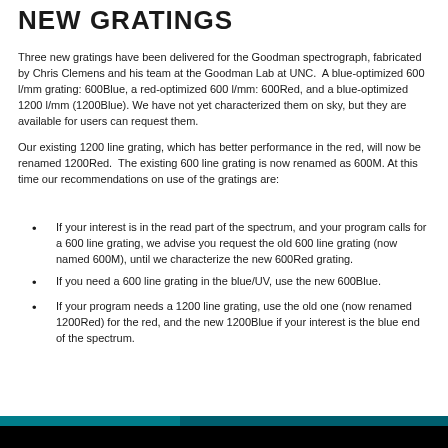NEW GRATINGS
Three new gratings have been delivered for the Goodman spectrograph, fabricated by Chris Clemens and his team at the Goodman Lab at UNC.  A blue-optimized 600 l/mm grating: 600Blue, a red-optimized 600 l/mm: 600Red, and a blue-optimized 1200 l/mm (1200Blue). We have not yet characterized them on sky, but they are available for users can request them.
Our existing 1200 line grating, which has better performance in the red, will now be renamed 1200Red.  The existing 600 line grating is now renamed as 600M. At this time our recommendations on use of the gratings are:
If your interest is in the read part of the spectrum, and your program calls for a 600 line grating, we advise you request the old 600 line grating (now named 600M), until we characterize the new 600Red grating.
If you need a 600 line grating in the blue/UV, use the new 600Blue.
If your program needs a 1200 line grating, use the old one (now renamed 1200Red) for the red, and the new 1200Blue if your interest is the blue end of the spectrum.